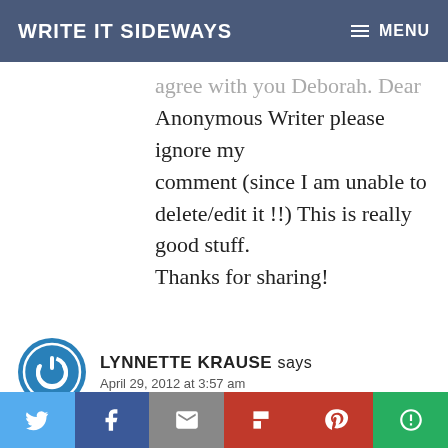WRITE IT SIDEWAYS | MENU
agree with you Deborah. Dear Anonymous Writer please ignore my comment (since I am unable to delete/edit it !!) This is really good stuff. Thanks for sharing!
LYNNETTE KRAUSE says
April 29, 2012 at 3:57 am
The author did a wonderful job of capturing the readers attention early on in this story. I found it to be colorful story-telling and truly